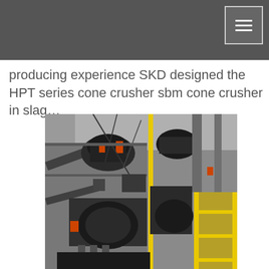producing experience SKD designed the HPT series cone crusher sbm cone crusher in slag…
[Figure (photo): Aerial/overhead view of an industrial crushing plant facility showing heavy machinery, conveyors, structural steel framework, and yellow safety railings]